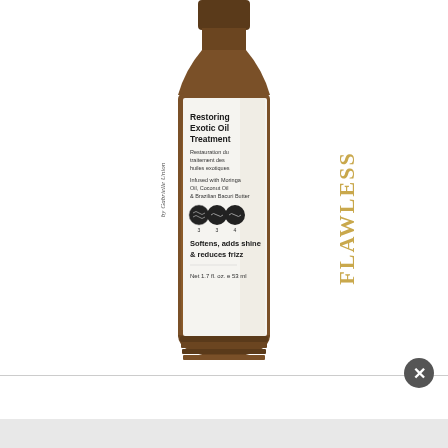[Figure (photo): A brown glass dropper bottle of Flawless by Gabrielle Union Restoring Exotic Oil Treatment. The label shows the product name, French translation, infused ingredients (Moringa Oil, Coconut Oil & Brazilian Bacuri Butter), three circular hair texture icons, tagline 'Softens, adds shine & reduces frizz', and net weight 'Net 1.7 fl. oz. e 53 ml'. The brand name FLAWLESS is printed vertically in large gold metallic letters on the right side of the label.]